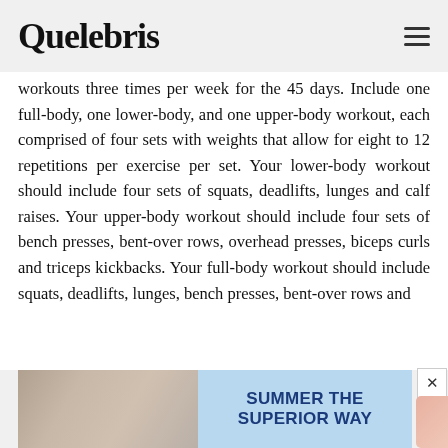Quelebris
workouts three times per week for the 45 days. Include one full-body, one lower-body, and one upper-body workout, each comprised of four sets with weights that allow for eight to 12 repetitions per exercise per set. Your lower-body workout should include four sets of squats, deadlifts, lunges and calf raises. Your upper-body workout should include four sets of bench presses, bent-over rows, overhead presses, biceps curls and triceps kickbacks. Your full-body workout should include squats, deadlifts, lunges, bench presses, bent-over rows and overhead presses.
[Figure (photo): Advertisement banner: left side shows a photo of a person with beverages/bottles on a table, right side has text on blue background reading SUMMER THE SUPERIOR WAY]